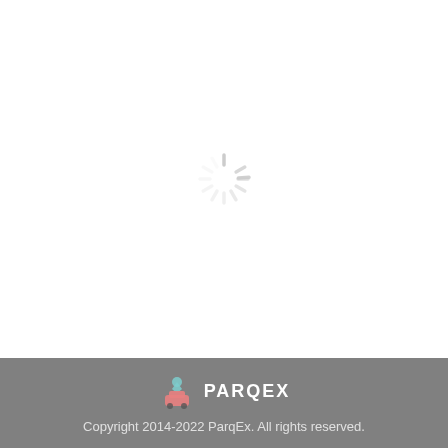[Figure (infographic): Loading spinner (animated wheel/radial lines) centered on a white background with blurred/faded content behind it, indicating a page loading state.]
PARQEX
Copyright 2014-2022 ParqEx. All rights reserved.